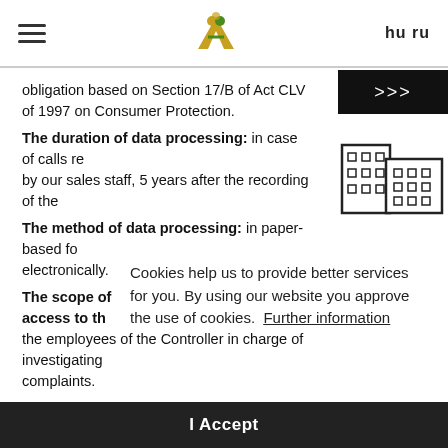≡  [logo]  hu ru
obligation based on Section 17/B of Act CLV of 1997 on Consumer Protection.
The duration of data processing: in case of calls recorded by our sales staff, 5 years after the recording of the…
The method of data processing: in paper-based form and electronically.
The scope of persons entitled to have access to the… the employees of the Controller in charge of investigating complaints.
2.6. Data processing related to the handling of complaints
The purpose of the data processing: recording, investigating and evaluating complaints.
Scope of the data processed: the client's name, address, correspondence address, the place, time and manner of complaint submission, the detailed description of the client's complaint, a record of data provided by the…
Cookies help us to provide better services for you. By using our website you approve the use of cookies. Further information
I Accept